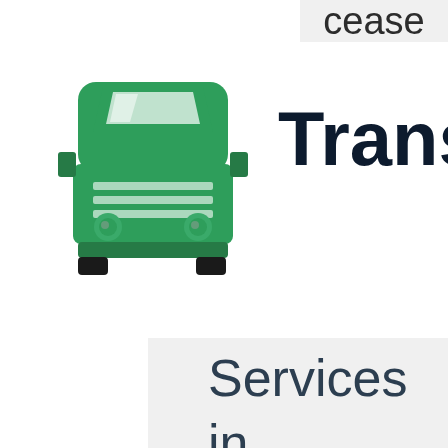cease
[Figure (illustration): Green truck (semi-truck, front view) icon / logo]
Transp
Services in relation to